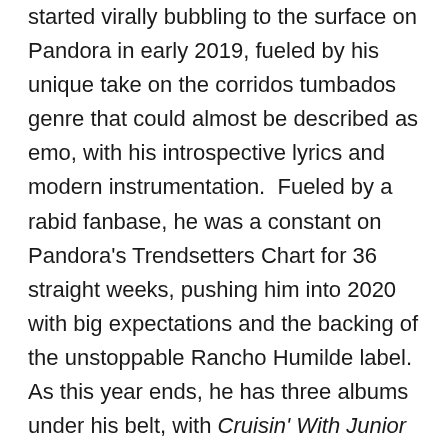started virally bubbling to the surface on Pandora in early 2019, fueled by his unique take on the corridos tumbados genre that could almost be described as emo, with his introspective lyrics and modern instrumentation.  Fueled by a rabid fanbase, he was a constant on Pandora's Trendsetters Chart for 36 straight weeks, pushing him into 2020 with big expectations and the backing of the unstoppable Rancho Humilde label. As this year ends, he has three albums under his belt, with Cruisin' With Junior H debuting at #1 on Billboard's Top Latin Albums and Top Regional Mexican Albums chart this past September, as well as signing a deal with Warner Latina/Atlantic Records. You could say 2021 looks promising